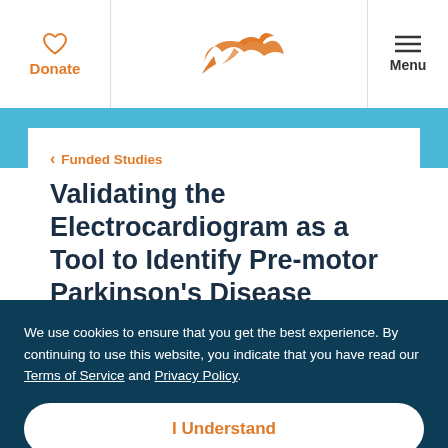Donate | [Logo] | Menu
< Funded Studies
Validating the Electrocardiogram as a Tool to Identify Pre-motor Parkinson's Disease
We use cookies to ensure that you get the best experience. By continuing to use this website, you indicate that you have read our Terms of Service and Privacy Policy.
I Understand